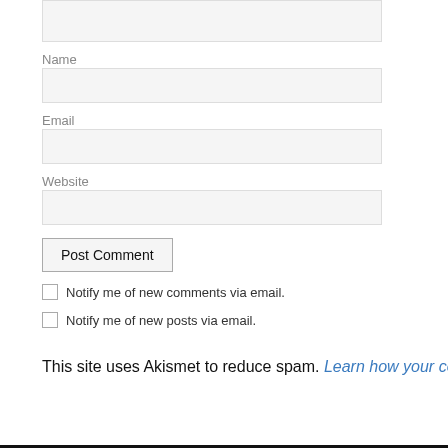[Figure (screenshot): Top portion of a comment form showing a textarea input box (partially cut off at top)]
Name
[Figure (screenshot): Name input field (text box, light gray background)]
Email
[Figure (screenshot): Email input field (text box, light gray background)]
Website
[Figure (screenshot): Website input field (text box, light gray background)]
Post Comment
Notify me of new comments via email.
Notify me of new posts via email.
This site uses Akismet to reduce spam. Learn how your comment data is processed.